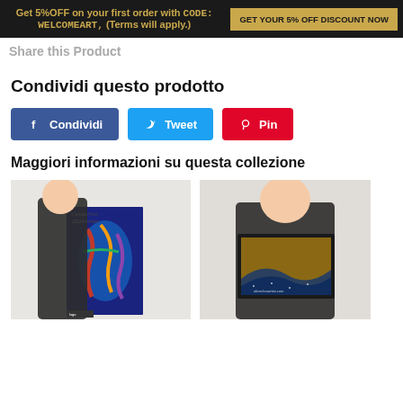Get 5%OFF on your first order with CODE: WELCOMEART, (Terms will apply.) GET YOUR 5% OFF DISCOUNT NOW
Share this Product
Condividi questo prodotto
Condividi
Tweet
Pin
Maggiori informazioni su questa collezione
[Figure (photo): Person holding a canvas print 18x24 inches with colorful abstract art]
[Figure (photo): Person holding a framed print with abstract blue and gold art]